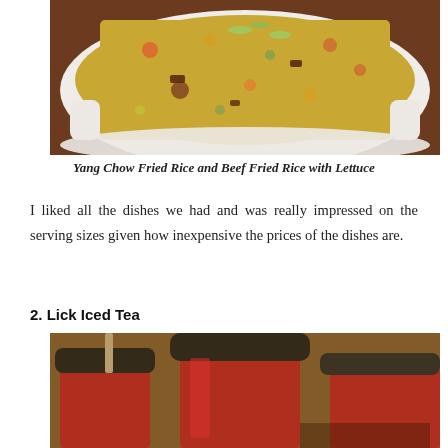[Figure (photo): A white ceramic bowl filled with Yang Chow Fried Rice and Beef Fried Rice with Lettuce, topped with green onion slices, on a wooden surface.]
Yang Chow Fried Rice and Beef Fried Rice with Lettuce
I liked all the dishes we had and was really impressed on the serving sizes given how inexpensive the prices of the dishes are.
2. Lick Iced Tea
[Figure (photo): Close-up of red cups or containers with dark lids, blurred background, appearing to be iced tea beverages from Lick Iced Tea.]